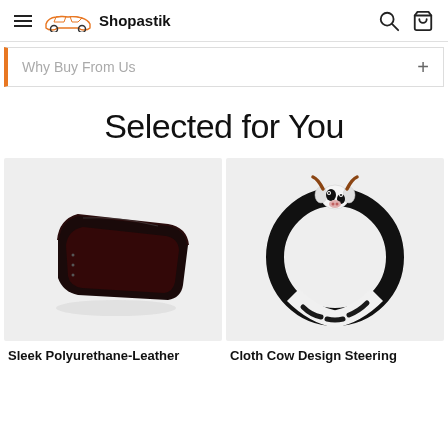Shopastik
Why Buy From Us
Selected for You
[Figure (photo): Sleek polyurethane-leather car seat gap organizer, black, elongated tray shape]
[Figure (photo): Cloth cow design steering wheel cover, black and white with small cow head decoration on top]
Sleek Polyurethane-Leather
Cloth Cow Design Steering